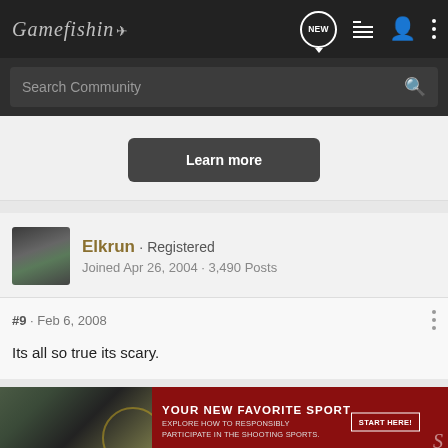Gamefishin· NEW [icons]
Search Community
[Figure (screenshot): Learn more button on light grey background]
Elkrun · Registered
Joined Apr 26, 2004 · 3,490 Posts
#9 · Feb 6, 2008
Its all so true its scary.
[Figure (infographic): Advertisement banner: YOUR NEW FAVORITE SPORT. EXPLORE HOW TO RESPONSIBLY PARTICIPATE IN THE SHOOTING SPORTS. START HERE! button.]